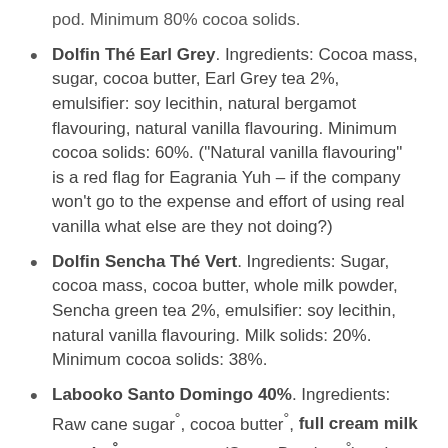pod. Minimum 80% cocoa solids.
Dolfin Thé Earl Grey. Ingredients: Cocoa mass, sugar, cocoa butter, Earl Grey tea 2%, emulsifier: soy lecithin, natural bergamot flavouring, natural vanilla flavouring. Minimum cocoa solids: 60%. ("Natural vanilla flavouring" is a red flag for Eagrania Yuh – if the company won't go to the expense and effort of using real vanilla what else are they not doing?)
Dolfin Sencha Thé Vert. Ingredients: Sugar, cocoa mass, cocoa butter, whole milk powder, Sencha green tea 2%, emulsifier: soy lecithin, natural vanilla flavouring. Milk solids: 20%. Minimum cocoa solids: 38%.
Labooko Santo Domingo 40%. Ingredients: Raw cane sugar°, cocoa butter°, full cream milk powder°, cocoa mass (Santo Domingo°), salt,